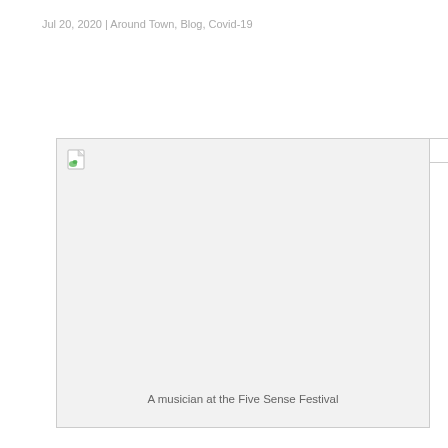Jul 20, 2020 | Around Town, Blog, Covid-19
[Figure (photo): A broken/missing image placeholder with a small icon in the top-left corner and caption text reading 'A musician at the Five Sense Festival']